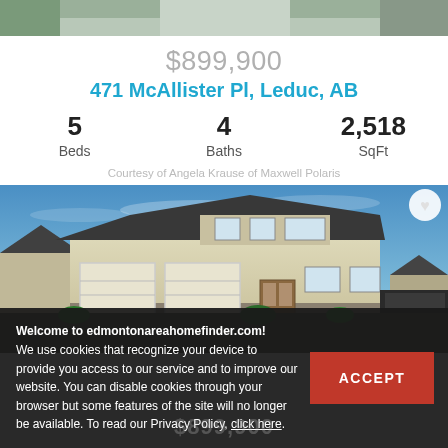[Figure (photo): Partial top of a house exterior photo, cropped at top of page]
$899,900
471 McAllister Pl, Leduc, AB
5 Beds
4 Baths
2,518 SqFt
Courtesy of Angela Krause of Maxwell Polaris
[Figure (photo): Exterior photo of a two-story residential house with double garage, beige/cream siding, dark roof, blue sky background. Heart/favorite icon in top-right corner.]
Welcome to edmontonareahomefinder.com! We use cookies that recognize your device to provide you access to our service and to improve our website. You can disable cookies through your browser but some features of the site will no longer be available. To read our Privacy Policy, click here.
ACCEPT